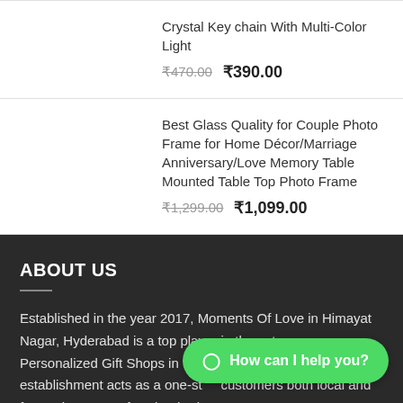Crystal Key chain With Multi-Color Light
₹470.00  ₹390.00
Best Glass Quality for Couple Photo Frame for Home Décor/Marriage Anniversary/Love Memory Table Mounted Table Top Photo Frame
₹1,299.00  ₹1,099.00
ABOUT US
Established in the year 2017, Moments Of Love in Himayat Nagar, Hyderabad is a top player in the category Personalized Gift Shops in the Hyderabad. This establishment acts as a one-st… customers both local and from other parts of Hyderabad.